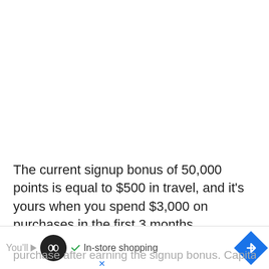The current signup bonus of 50,000 points is equal to $500 in travel, and it's yours when you spend $3,000 on purchases in the first 3 months.
[Figure (other): Advertisement banner with logo, 'In-store shopping' label with checkmark, navigation arrow icon, partially visible ad text]
purchase after earning the signup bonus. Capital One